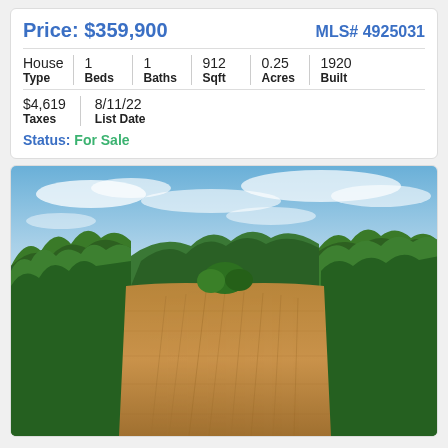| Price: $359,900 | MLS# 4925031 |
| House Type | 1 Beds | 1 Baths | 912 Sqft | 0.25 Acres | 1920 Built |
| $4,619 Taxes | 8/11/22 List Date |
| Status: For Sale |
[Figure (photo): Aerial drone photo of a rural property showing a harvested brown field in the center, surrounded by dense green trees and forest, under a blue sky with light clouds.]